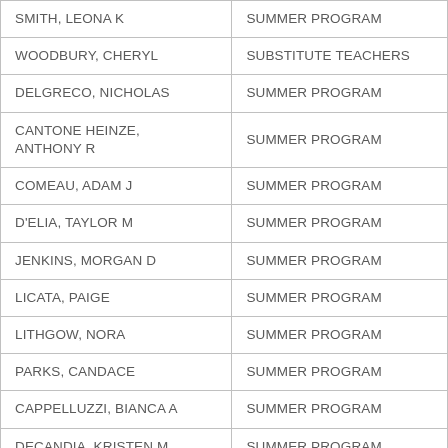| SMITH, LEONA K | SUMMER PROGRAM |
| WOODBURY, CHERYL | SUBSTITUTE TEACHERS |
| DELGRECO, NICHOLAS | SUMMER PROGRAM |
| CANTONE HEINZE, ANTHONY R | SUMMER PROGRAM |
| COMEAU, ADAM J | SUMMER PROGRAM |
| D'ELIA, TAYLOR M | SUMMER PROGRAM |
| JENKINS, MORGAN D | SUMMER PROGRAM |
| LICATA, PAIGE | SUMMER PROGRAM |
| LITHGOW, NORA | SUMMER PROGRAM |
| PARKS, CANDACE | SUMMER PROGRAM |
| CAPPELLUZZI, BIANCA A | SUMMER PROGRAM |
| DECANDIA, KRISTEN M | SUMMER PROGRAM |